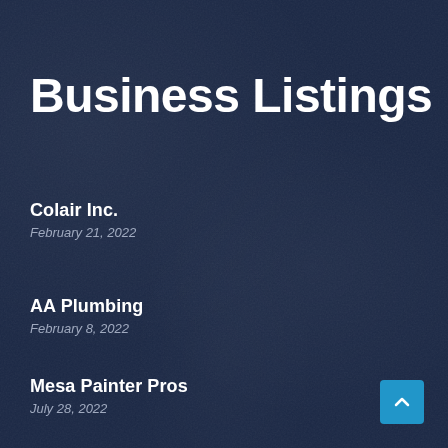Business Listings
Colair Inc.
February 21, 2022
AA Plumbing
February 8, 2022
Mesa Painter Pros
July 28, 2022